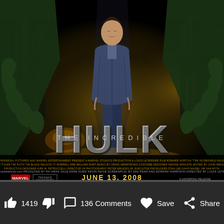[Figure (photo): Movie poster for The Incredible Hulk (2008). Shows a man standing in a city street with large green Hulk hands visible on both sides. Large metallic 'HULK' text with 'THE INCREDIBLE' above it. Credits text and release date 'JUNE 13, 2008' at bottom of poster.]
1419
136 Comments
Save
Share